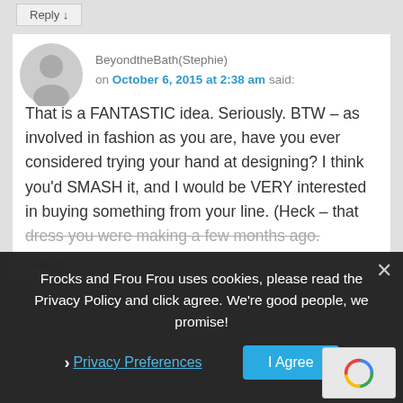Reply ↓
BeyondtheBath(Stephie) on October 6, 2015 at 2:38 am said:
That is a FANTASTIC idea. Seriously. BTW – as involved in fashion as you are, have you ever considered trying your hand at designing? I think you'd SMASH it, and I would be VERY interested in buying something from your line. (Heck – that dress you were making a few months ago.
↓ Reply ↓
Frocks and Frou Frou uses cookies, please read the Privacy Policy and click agree. We're good people, we promise!
❯ Privacy Preferences
I Agree